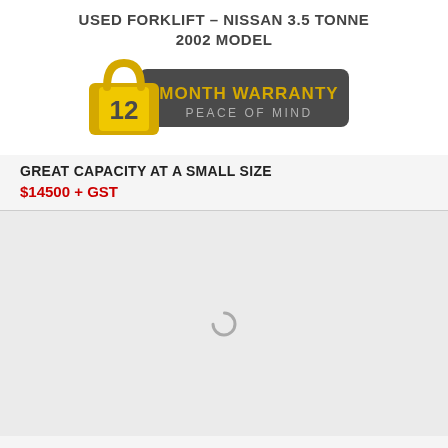USED FORKLIFT – NISSAN 3.5 TONNE 2002 MODEL
[Figure (logo): 12 Month Warranty – Peace of Mind badge with padlock icon, gold and dark grey colors]
GREAT CAPACITY AT A SMALL SIZE
$14500 + GST
[Figure (photo): Loading spinner / image placeholder for a forklift photo]
NISSAN 1.8 TONNE 3 STAGE MAST USED FORKLIFT
Great Price – $12500 + gst